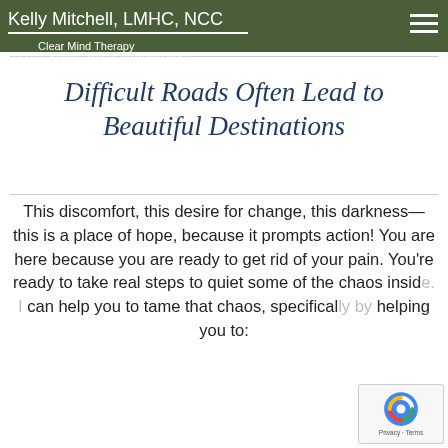Kelly Mitchell, LMHC, NCC — Clear Mind Therapy
feeling lonely and inadequate. You fear rejection and failure. On the outside, you're under control. On the inside, you're anything but.
Difficult Roads Often Lead to Beautiful Destinations
This discomfort, this desire for change, this darkness— this is a place of hope, because it prompts action! You are here because you are ready to get rid of your pain. You're ready to take real steps to quiet some of the chaos inside. I can help you to tame that chaos, specifically by helping you to: